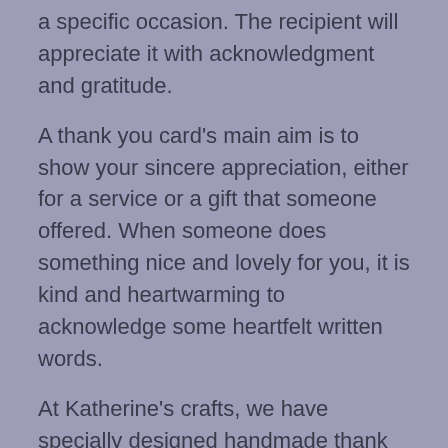a specific occasion. The recipient will appreciate it with acknowledgment and gratitude.
A thank you card's main aim is to show your sincere appreciation, either for a service or a gift that someone offered. When someone does something nice and lovely for you, it is kind and heartwarming to acknowledge some heartfelt written words.
At Katherine's crafts, we have specially designed handmade thank you cards that you can share with someone who goes above the call of duty but goes unnoticed. Our custom-designed thank you cards will pleasantly surprise them and let them know how much their efforts are appreciated. While an email might do the trick, it is still not wrong to go a little traditional and follow up later with a card and a pen.